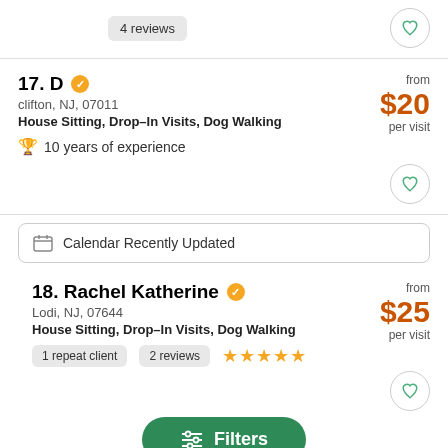4 reviews
17. D — clifton, NJ, 07011 — House Sitting, Drop-In Visits, Dog Walking — 10 years of experience — from $20 per visit
Calendar Recently Updated
18. Rachel Katherine — Lodi, NJ, 07644 — House Sitting, Drop-In Visits, Dog Walking — 1 repeat client — 2 reviews — ★★★★★ — from $25 per visit
Filters
19. Spencer — from